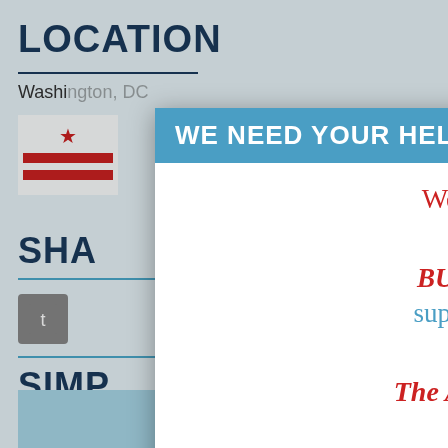LOCATION
Washington, DC
[Figure (illustration): DC flag icon with red star and red horizontal stripes on white background]
SHA[RE]
[Figure (screenshot): Twitter share button icon]
[Figure (screenshot): Email share button icon (@)]
SIMP[LE SA]VES
[Figure (screenshot): Search bar with magnifying glass icon]
WE NEED YOUR HELP!
We're sorry to disrupt your visit!
BUT:  We need *your* support in order to keep providing The American Presidency Project for free.
Please make a tax-deductible gift!  Every gift